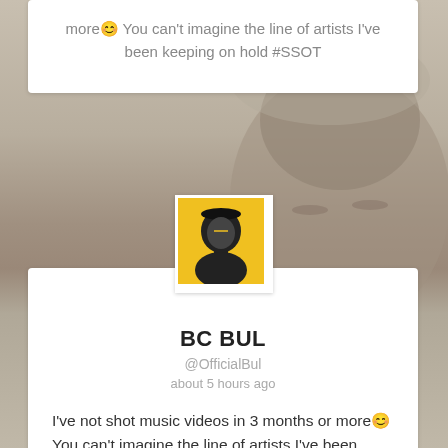more😊 You can't imagine the line of artists I've been keeping on hold #SSOT
[Figure (photo): Blurred background photo of a person with eyes closed, wearing a cap]
[Figure (photo): Profile avatar of BC BUL on yellow background]
BC BUL
@OfficialBul
about 5 hours ago
I've not shot music videos in 3 months or more😊 You can't imagine the line of artists I've been keeping on hold #SSOT